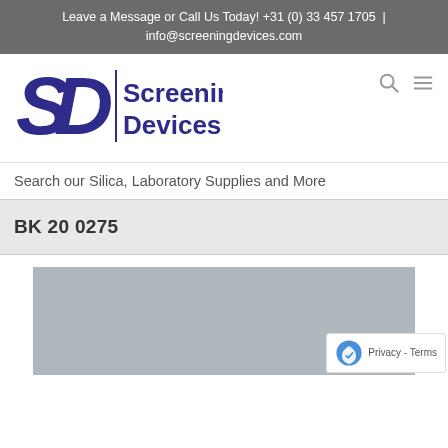Leave a Message or Call Us Today! +31 (0) 33 457 1705  |  info@screeningdevices.com
[Figure (logo): SD Screening Devices logo — stylized SD monogram in dark blue/indigo with 'Screening Devices' text beside it]
Search our Silica, Laboratory Supplies and More
BK 20 0275
[Figure (photo): Product image placeholder — grey rectangle, partially visible, bottom portion cut off]